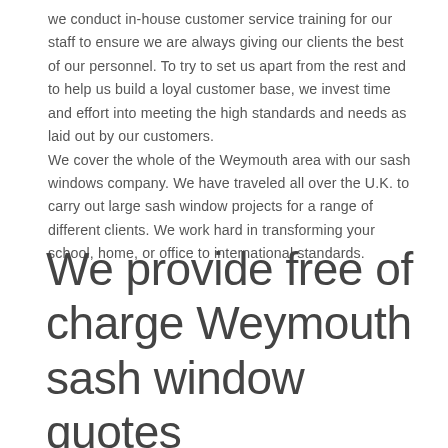we conduct in-house customer service training for our staff to ensure we are always giving our clients the best of our personnel. To try to set us apart from the rest and to help us build a loyal customer base, we invest time and effort into meeting the high standards and needs as laid out by our customers. We cover the whole of the Weymouth area with our sash windows company. We have traveled all over the U.K. to carry out large sash window projects for a range of different clients. We work hard in transforming your school, home, or office to international standards.
We provide free of charge Weymouth sash window quotes